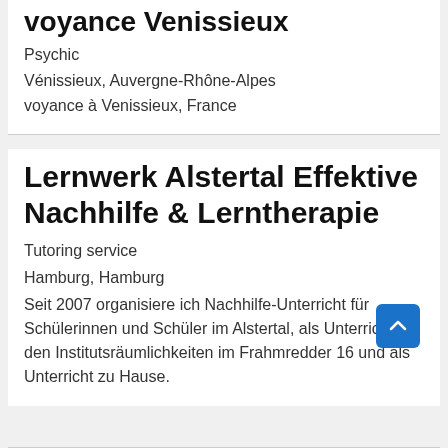voyance Venissieux
Psychic
Vénissieux, Auvergne-Rhône-Alpes
voyance à Venissieux, France
Lernwerk Alstertal Effektive Nachhilfe & Lerntherapie
Tutoring service
Hamburg, Hamburg
Seit 2007 organisiere ich Nachhilfe-Unterricht für Schülerinnen und Schüler im Alstertal, als Unterricht in den Institutsräumlichkeiten im Frahmredder 16 und als Unterricht zu Hause.